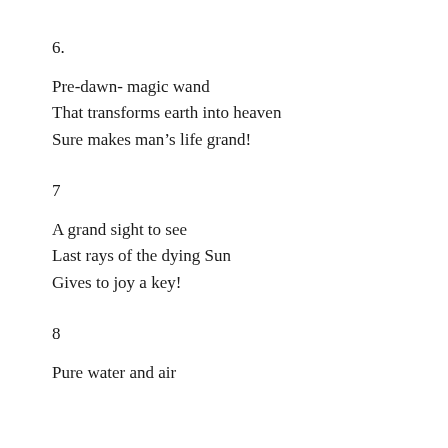6.
Pre-dawn- magic wand
That transforms earth into heaven
Sure makes man’s life grand!
7
A grand sight to see
Last rays of the dying Sun
Gives to joy a key!
8
Pure water and air